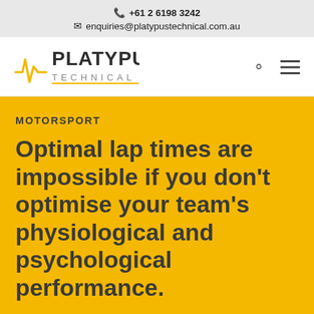+61 2 6198 3242 | enquiries@platypustechnical.com.au
[Figure (logo): Platypus Technical logo with stylised platypus ECG line and text 'PLATYPUS TECHNICAL']
MOTORSPORT
Optimal lap times are impossible if you don't optimise your team's physiological and psychological performance.